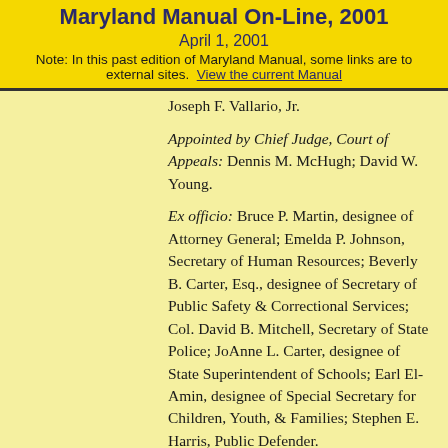Maryland Manual On-Line, 2001
April 1, 2001
Note: In this past edition of Maryland Manual, some links are to external sites. View the current Manual
Joseph F. Vallario, Jr.
Appointed by Chief Judge, Court of Appeals: Dennis M. McHugh; David W. Young.
Ex officio: Bruce P. Martin, designee of Attorney General; Emelda P. Johnson, Secretary of Human Resources; Beverly B. Carter, Esq., designee of Secretary of Public Safety & Correctional Services; Col. David B. Mitchell, Secretary of State Police; JoAnne L. Carter, designee of State Superintendent of Schools; Earl El-Amin, designee of Special Secretary for Children, Youth, & Families; Stephen E. Harris, Public Defender.
FEMALE POPULATION TASK FORCE
Appointed by Secretary of Juvenile Justice: